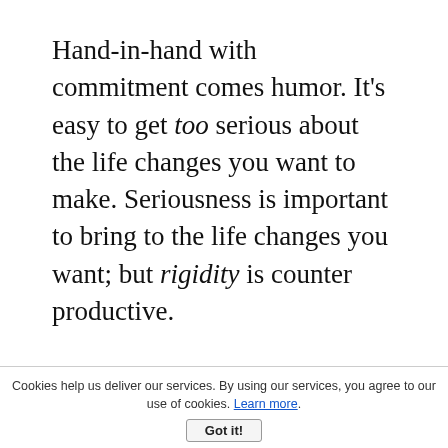Hand-in-hand with commitment comes humor. It's easy to get too serious about the life changes you want to make. Seriousness is important to bring to the life changes you want; but rigidity is counter productive.
Humor helps soften rigidity by providing you with perspective.
Drinking five teaspoons of salt dissolved in a cup of water may taste awful. Yet, drink the same five teaspoons dissolved into a fresh water pond or
Cookies help us deliver our services. By using our services, you agree to our use of cookies. Learn more. Got it!